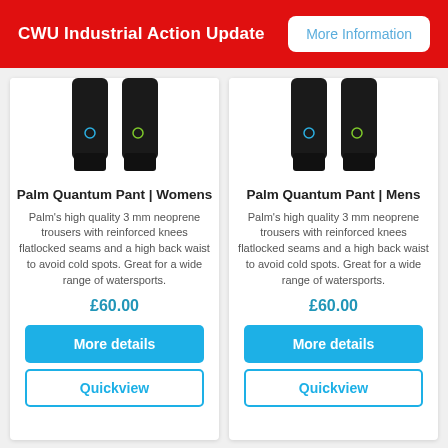CWU Industrial Action Update | More Information
Palm Quantum Pant | Womens
Palm's high quality 3 mm neoprene trousers with reinforced knees flatlocked seams and a high back waist to avoid cold spots. Great for a wide range of watersports.
£60.00
More details
Quickview
Palm Quantum Pant | Mens
Palm's high quality 3 mm neoprene trousers with reinforced knees flatlocked seams and a high back waist to avoid cold spots. Great for a wide range of watersports.
£60.00
More details
Quickview